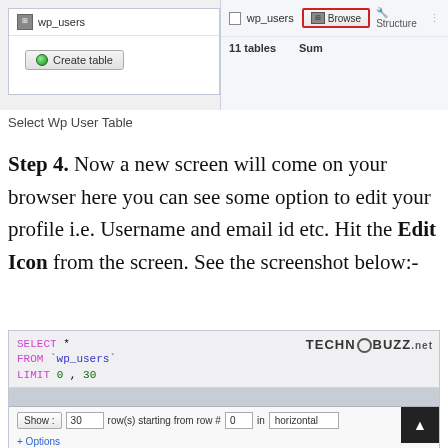[Figure (screenshot): phpMyAdmin interface showing wp_users table with Browse and Structure buttons highlighted, and Create table button visible]
Select Wp User Table
Step 4. Now a new screen will come on your browser here you can see some option to edit your profile i.e. Username and email id etc. Hit the Edit Icon from the screen. See the screenshot below:-
[Figure (screenshot): phpMyAdmin browse screen showing SQL query SELECT * FROM wp_users LIMIT 0,30 with Show options and row navigation controls, TECHNOBUZZ.net logo visible]